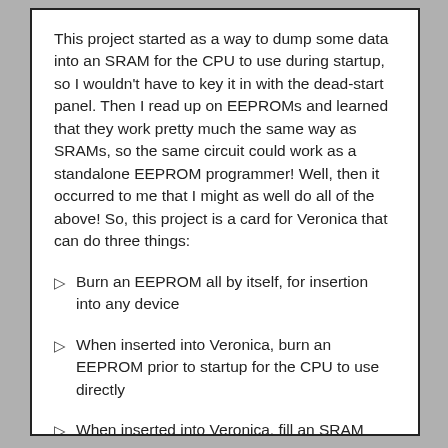This project started as a way to dump some data into an SRAM for the CPU to use during startup, so I wouldn't have to key it in with the dead-start panel. Then I read up on EEPROMs and learned that they work pretty much the same way as SRAMs, so the same circuit could work as a standalone EEPROM programmer! Well, then it occurred to me that I might as well do all of the above! So, this project is a card for Veronica that can do three things:
Burn an EEPROM all by itself, for insertion into any device
When inserted into Veronica, burn an EEPROM prior to startup for the CPU to use directly
When inserted into Veronica, fill an SRAM chip with data that will look like ROM to the CPU